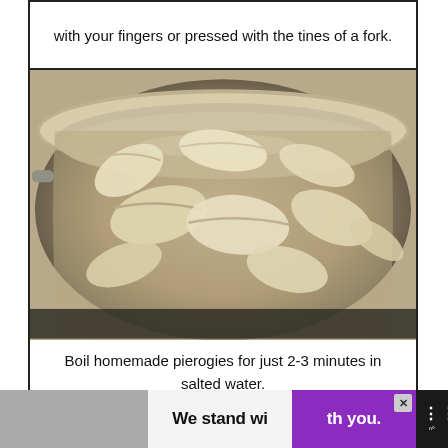with your fingers or pressed with the tines of a fork.
[Figure (photo): Pierogies boiling in a large stainless steel pot of water, viewed from above. Multiple dough dumplings float in the simmering water.]
Boil homemade pierogies for just 2-3 minutes in salted water.
[Figure (other): Advertisement banner: 'We stand with you.' on gray, white, and purple background with a close button and news logo.]